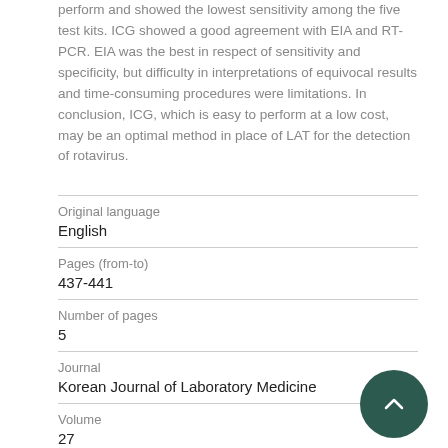perform and showed the lowest sensitivity among the five test kits. ICG showed a good agreement with EIA and RT-PCR. EIA was the best in respect of sensitivity and specificity, but difficulty in interpretations of equivocal results and time-consuming procedures were limitations. In conclusion, ICG, which is easy to perform at a low cost, may be an optimal method in place of LAT for the detection of rotavirus.
| Field | Value |
| --- | --- |
| Original language | English |
| Pages (from-to) | 437-441 |
| Number of pages | 5 |
| Journal | Korean Journal of Laboratory Medicine |
| Volume | 27 |